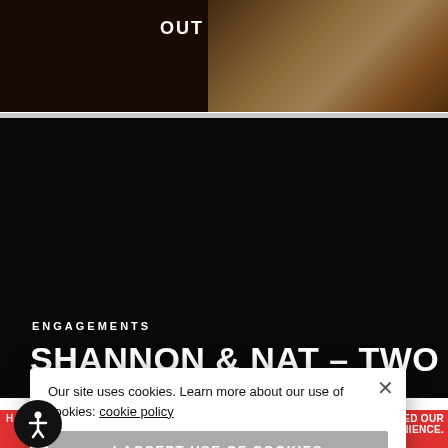[Figure (photo): Top banner showing 'OUT NOW' text over a dark brown/warm background with photo prints visible on right side]
[Figure (photo): Large black/dark section below the banner, appearing to be a video or dark image placeholder]
ENGAGEMENTS
SHANNON & NAT – TWO PROPOSALS ONE AT THE BEACH
Our site uses cookies. Learn more about our use of cookies: cookie policy
I ACCEPT USE OF COOKIES
WE'VE UPDATED OUR PRIVACY POLICY FOR YOUR BROWSING CONVENIENCE.
USE AUSTRALIAN DOLLAR INSTEAD. DISMISS